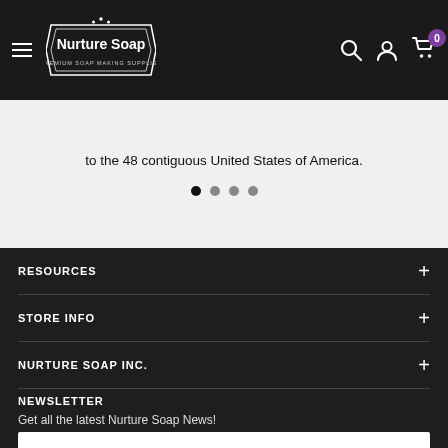Nurture Soap - Premium Soap Making Supplies
to the 48 contiguous United States of America.
[Figure (other): Slideshow navigation dots, 4 dots with first active]
RESOURCES
STORE INFO
NURTURE SOAP INC.
NEWSLETTER
Get all the latest Nurture Soap News!